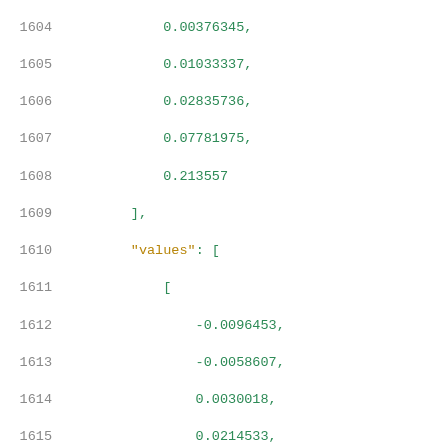Code listing showing JSON-like numeric array data, lines 1604-1625, with values including 0.00376345, 0.01033337, 0.02835736, 0.07781975, 0.213557, values array with nested arrays containing -0.0096453, -0.0058607, 0.0030018, 0.0214533, 0.0602452, 0.1450666, 0.3621997 and -0.0096218, -0.0058369, 0.0030211, 0.021402, 0.0602352